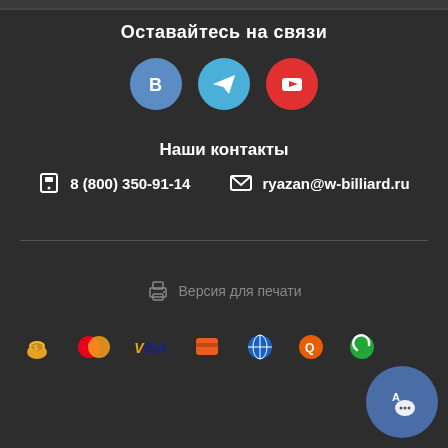Оставайтесь на связи
[Figure (infographic): Three social media icons: VKontakte (blue circle with B), Telegram (light blue circle with paper plane), YouTube (red circle with play button)]
Наши контакты
8 (800) 350-91-14   ryazan@w-billiard.ru
Версия для печати
[Figure (infographic): Payment method icons: hand with coins, MasterCard, Visa, orange card, blue ball grid, Qiwi, Sberbank green, chat bubble]